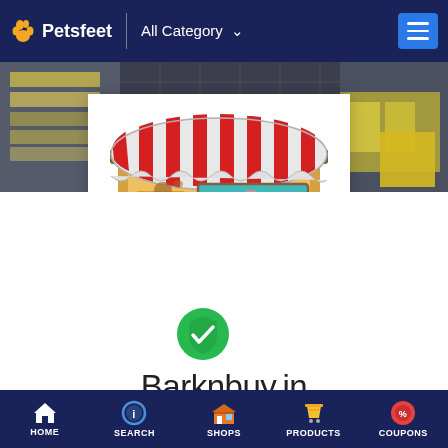Petsfeet | All Category
[Figure (screenshot): Mobile app screenshot showing a pet shop storefront illustration with red/white striped awning, yellow walls, blue window with 'pet shop' sign, green bushes, a green verified checkmark badge overlay, and the shop name 'Barknbuy.in']
Barknbuy.in
5.0 ★★★★★
HOME | SEARCH | SHOPS | PRODUCTS | COUPONS